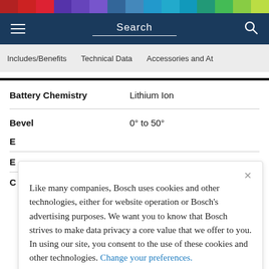Search
Includes/Benefits | Technical Data | Accessories and At
Battery Chemistry — Lithium Ion
Bevel — 0° to 50°
Like many companies, Bosch uses cookies and other technologies, either for website operation or Bosch's advertising purposes. We want you to know that Bosch strives to make data privacy a core value that we offer to you. In using our site, you consent to the use of these cookies and other technologies. Change your preferences.